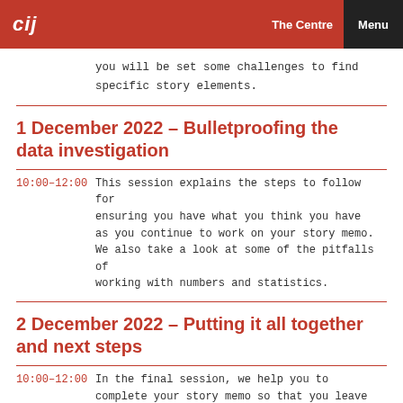cij | The Centre | Menu
you will be set some challenges to find specific story elements.
1 December 2022 – Bulletproofing the data investigation
10:00–12:00   This session explains the steps to follow for ensuring you have what you think you have as you continue to work on your story memo. We also take a look at some of the pitfalls of working with numbers and statistics.
2 December 2022 – Putting it all together and next steps
10:00–12:00   In the final session, we help you to complete your story memo so that you leave the course with a real story on the go. We also discuss what other training and